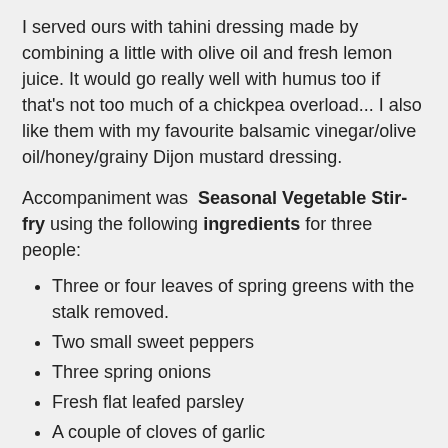I served ours with tahini dressing made by combining a little with olive oil and fresh lemon juice. It would go really well with humus too if that's not too much of a chickpea overload... I also like them with my favourite balsamic vinegar/olive oil/honey/grainy Dijon mustard dressing.
Accompaniment was Seasonal Vegetable Stir-fry using the following ingredients for three people:
Three or four leaves of spring greens with the stalk removed.
Two small sweet peppers
Three spring onions
Fresh flat leafed parsley
A couple of cloves of garlic
One large portobello mushroom or a handful of chestnut ones
A little olive oil and five-spice seasoning